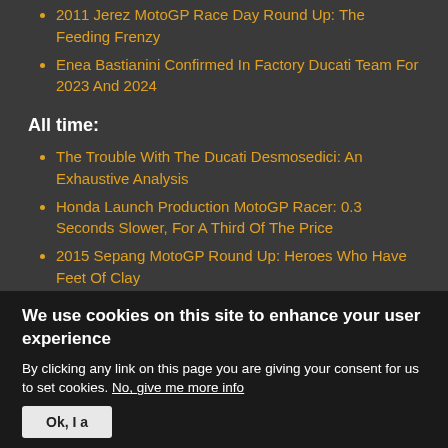2011 Jerez MotoGP Race Day Round Up: The Feeding Frenzy
Enea Bastianini Confirmed In Factory Ducati Team For 2023 And 2024
All time:
The Trouble With The Ducati Desmosedici: An Exhaustive Analysis
Honda Launch Production MotoGP Racer: 0.3 Seconds Slower, For A Third Of The Price
2015 Sepang MotoGP Round Up: Heroes Who Have Feet Of Clay
We use cookies on this site to enhance your user experience
By clicking any link on this page you are giving your consent for us to set cookies. No, give me more info